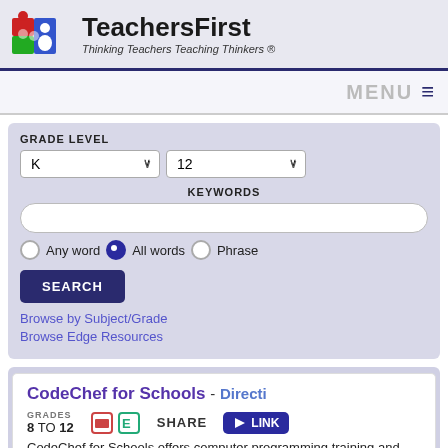[Figure (logo): TeachersFirst logo with puzzle pieces and text 'Thinking Teachers Teaching Thinkers ®']
MENU ≡
GRADE LEVEL
K  12
KEYWORDS
Any word   All words   Phrase
SEARCH
Browse by Subject/Grade
Browse Edge Resources
CodeChef for Schools - Directi
GRADES 8 TO 12
SHARE
LINK
CodeChef for Schools offers computer programming training and